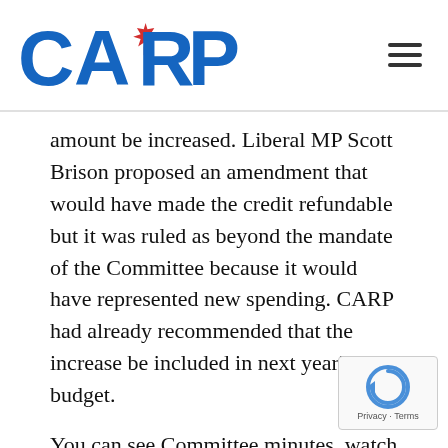CARP
amount be increased. Liberal MP Scott Brison proposed an amendment that would have made the credit refundable but it was ruled as beyond the mandate of the Committee because it would have represented new spending. CARP had already recommended that the increase be included in next year’s budget.
You can see Committee minutes, watch a webcast of the consultation and eventually read the transcript via the Committee website by clicking: here